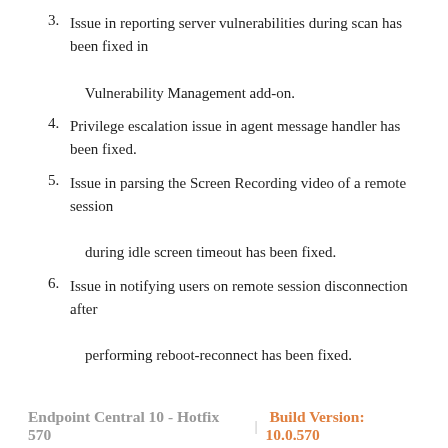3. Issue in reporting server vulnerabilities during scan has been fixed in Vulnerability Management add-on.
4. Privilege escalation issue in agent message handler has been fixed.
5. Issue in parsing the Screen Recording video of a remote session during idle screen timeout has been fixed.
6. Issue in notifying users on remote session disconnection after performing reboot-reconnect has been fixed.
Endpoint Central 10 - Hotfix 570  |  Build Version: 10.0.570
Features
1. Introducing the SMS notification feature; users can now receive Inventory Alerts through SMS.
Enhancements